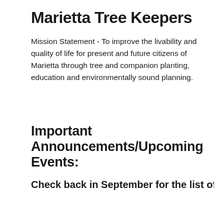Marietta Tree Keepers
Mission Statement - To improve the livability and quality of life for present and future citizens of Marietta through tree and companion planting, education and environmentally sound planning.
Important Announcements/Upcoming Events:
Check back in September for the list of Fall
Members of the Marietta Tree Keepers have been promoting the value of trees to the community since it was founded in